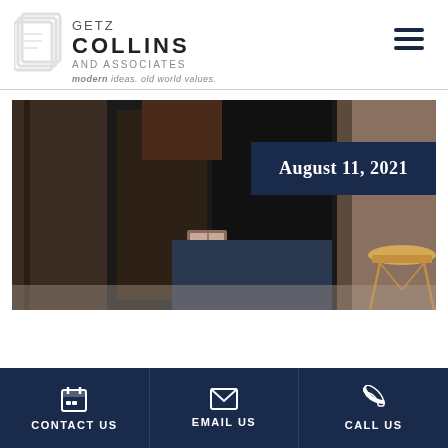[Figure (logo): Getz Collins and Associates logo with book/document icon. Text reads: GETZ COLLINS AND ASSOCIATES, modern ideas. old world values.]
[Figure (photo): Professional woman in dark blazer holding notebooks, walking through a doorway in a modern interior. A gold side table is visible to the right.]
August 11, 2021
CONTACT US
EMAIL US
CALL US